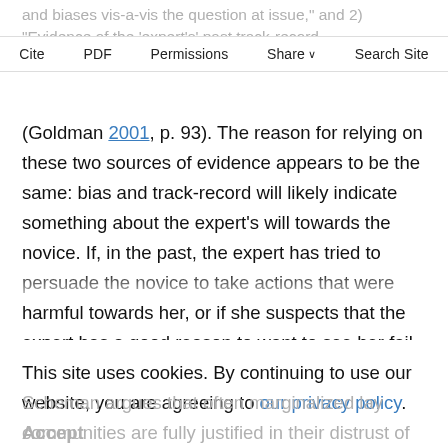and biases vis-a-vis the question at issue," and 2) "Evidence of the 'expert's' past track-record
Cite | PDF | Permissions | Share | Search Site
(Goldman 2001, p. 93). The reason for relying on these two sources of evidence appears to be the same: bias and track-record will likely indicate something about the expert's will towards the novice. If, in the past, the expert has tried to persuade the novice to take actions that were harmful towards her, or if she suspects that the expert has a good reason to want to see her fail in this case, then the novice has good reason to doubt the expert's good will towards her. If Goldman is correct, then using someone's past track-record, or their potential biases, are both rationally justified ways of
This site uses cookies. By continuing to use our website, you are agreeing to our privacy policy. Accept
Scheman argues that often marginalized lay communities are fully justified in their distrust of